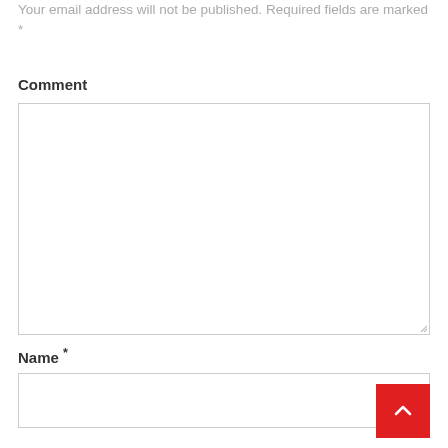Your email address will not be published. Required fields are marked *
Comment
[Figure (other): Comment textarea input field (empty, with resize handle)]
Name *
[Figure (other): Name text input field (empty)]
[Figure (other): Red back-to-top button with upward chevron arrow]